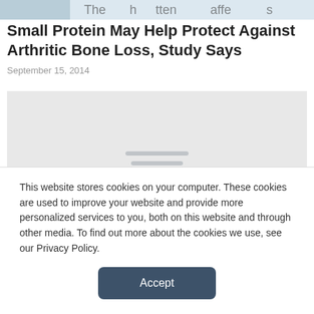[Figure (photo): Cropped top portion of an image, partially visible, appears to show text or a magazine/newspaper clipping]
Small Protein May Help Protect Against Arthritic Bone Loss, Study Says
September 15, 2014
[Figure (other): Gray placeholder/loading box with four horizontal lines indicating loading content]
This website stores cookies on your computer. These cookies are used to improve your website and provide more personalized services to you, both on this website and through other media. To find out more about the cookies we use, see our Privacy Policy.
Accept